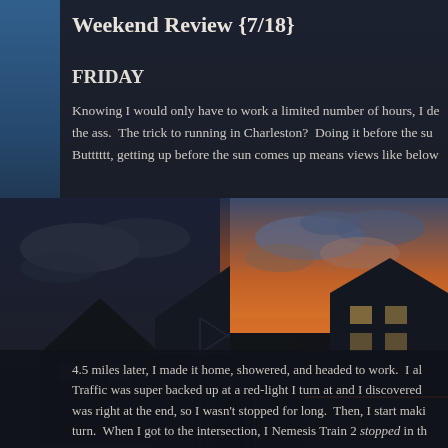Weekend Review {7/18}
FRIDAY
Knowing I would only have to work a limited number of hours, I de the ass.  The trick to running in Charleston?  Doing it before the su Butttttt, getting up before the sun comes up means views like below
[Figure (photo): A dramatic pre-dawn or sunset sky with orange and deep blue clouds over silhouetted house rooftops in a European/Charleston style, with half-timbered building structures visible.]
4.5 miles later, I made it home, showered, and headed to work.  I al Traffic was super backed up at a red-light I turn at and I discovered was right at the end, so I wasn't stopped for long.  Then, I start maki turn.  When I got to the intersection, I Nemesis Train 2 stopped in th